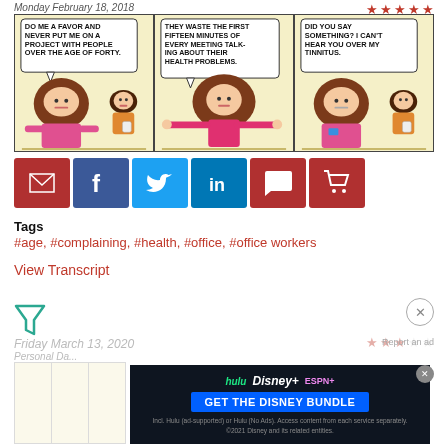Monday February 18, 2018
Health Problems
[Figure (illustration): Three-panel Dilbert comic strip about health problems. Panel 1: Character says 'DO ME A FAVOR AND NEVER PUT ME ON A PROJECT WITH PEOPLE OVER THE AGE OF FORTY.' Panel 2: Character says 'THEY WASTE THE FIRST FIFTEEN MINUTES OF EVERY MEETING TALKING ABOUT THEIR HEALTH PROBLEMS.' Panel 3: Character says 'DID YOU SAY SOMETHING? I CAN'T HEAR YOU OVER MY TINNITUS.']
[Figure (infographic): Social sharing buttons: email (red), facebook (dark blue), twitter (light blue), linkedin (blue), comment (red), shopping cart (red)]
Tags
#age, #complaining, #health, #office, #office workers
View Transcript
[Figure (other): Filter/funnel icon in teal and close X button in gray circle]
Friday March 13, 2020
Personal Data
[Figure (illustration): Partially visible next Dilbert comic strip (faded), with Disney Bundle advertisement overlay showing Hulu, Disney+, ESPN+ logos and 'GET THE DISNEY BUNDLE' CTA]